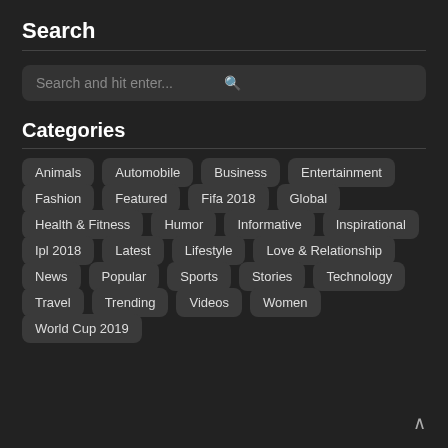Search
[Figure (other): Search input box with placeholder text 'Search and hit enter...' and a search icon on the right]
Categories
Animals
Automobile
Business
Entertainment
Fashion
Featured
Fifa 2018
Global
Health & Fitness
Humor
Informative
Inspirational
Ipl 2018
Latest
Lifestyle
Love & Relationship
News
Popular
Sports
Stories
Technology
Travel
Trending
Videos
Women
World Cup 2019